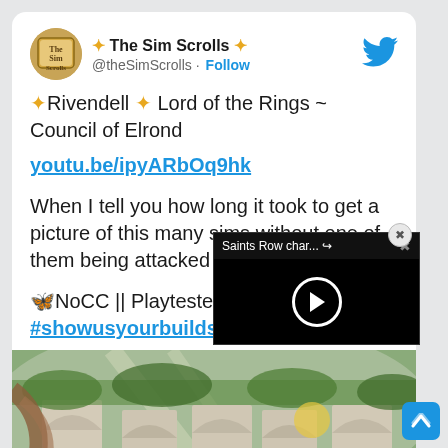The Sim Scrolls ✨ @theSimScrolls · Follow
✨Rivendell ✨ Lord of the Rings ~ Council of Elrond
youtu.be/ipyARbOq9hk
When I tell you how long it took to get a picture of this many sims without one of them being attacked b
🦋NoCC || Playtested #showusyourbuilds
[Figure (screenshot): Video overlay showing Saints Row char... with play button on dark background]
[Figure (screenshot): In-game screenshot of Rivendell build from The Sims, showing elven architecture with arches, vines, and figures]